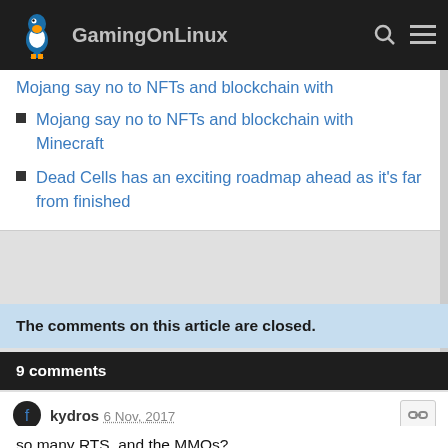GamingOnLinux
Mojang say no to NFTs and blockchain with Minecraft
Dead Cells has an exciting roadmap ahead as it's far from finished
The comments on this article are closed.
9 comments
kydros 6 Nov, 2017
so many RTS, and the MMOs?
Purple Library Guy 6 Nov, 2017
— Quoting: kydros —
so many RTS, and the MMOs?